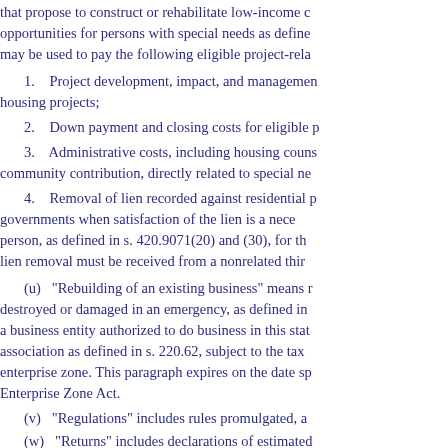that propose to construct or rehabilitate low-income c opportunities for persons with special needs as define may be used to pay the following eligible project-rela
1. Project development, impact, and management housing projects;
2. Down payment and closing costs for eligible p
3. Administrative costs, including housing couns community contribution, directly related to special ne
4. Removal of liens recorded against residential p governments when satisfaction of the lien is a neces person, as defined in s. 420.9071(20) and (30), for the lien removal must be received from a nonrelated thir
(u) “Rebuilding of an existing business” means r destroyed or damaged in an emergency, as defined in a business entity authorized to do business in this sta association as defined in s. 220.62, subject to the tax enterprise zone. This paragraph expires on the date sp Enterprise Zone Act.
(v) “Regulations” includes rules promulgated, a
(w) “Returns” includes declarations of estimated
(x) “State,” when applied to a jurisdiction other t District of Columbia, the Commonwealth of Puerto R